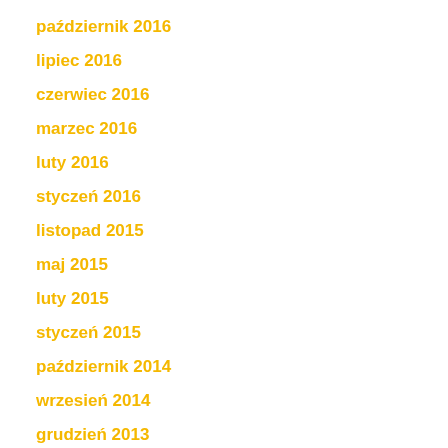październik 2016
lipiec 2016
czerwiec 2016
marzec 2016
luty 2016
styczeń 2016
listopad 2015
maj 2015
luty 2015
styczeń 2015
październik 2014
wrzesień 2014
grudzień 2013